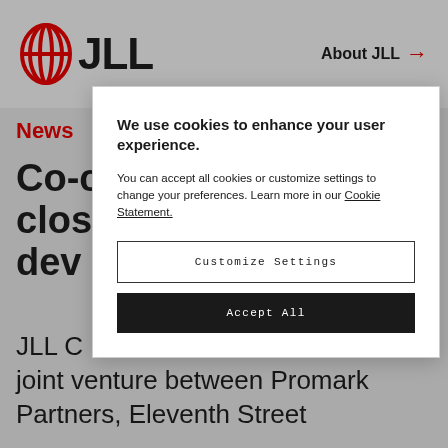[Figure (logo): JLL logo with red circular emblem and bold JLL text]
About JLL →
News
Co-c... clos... dev... n
JLL C... he joint venture between Promark Partners, Eleventh Street P...
We use cookies to enhance your user experience.
You can accept all cookies or customize settings to change your preferences. Learn more in our Cookie Statement.
Customize Settings
Accept All